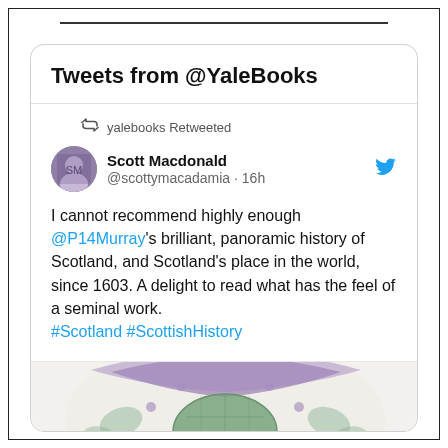Tweets from @YaleBooks
yalebooks Retweeted
Scott Macdonald
@scottymacadamia · 16h
I cannot recommend highly enough @P14Murray's brilliant, panoramic history of Scotland, and Scotland's place in the world, since 1603. A delight to read what has the feel of a seminal work.
#Scotland #ScottishHistory
[Figure (illustration): Partial view of a book cover showing a decorative illustration with green and purple colors depicting a globe or heraldic design]